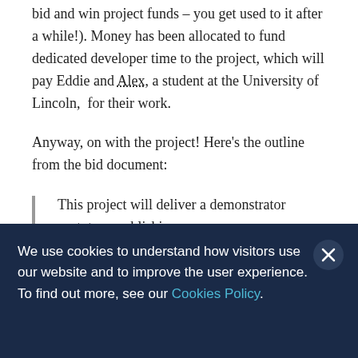bid and win project funds – you get used to it after a while!). Money has been allocated to fund dedicated developer time to the project, which will pay Eddie and Alex, a student at the University of Lincoln,  for their work.
Anyway, on with the project! Here's the outline from the bid document:
This project will deliver a demonstrator prototype publishing
We use cookies to understand how visitors use our website and to improve the user experience. To find out more, see our Cookies Policy.